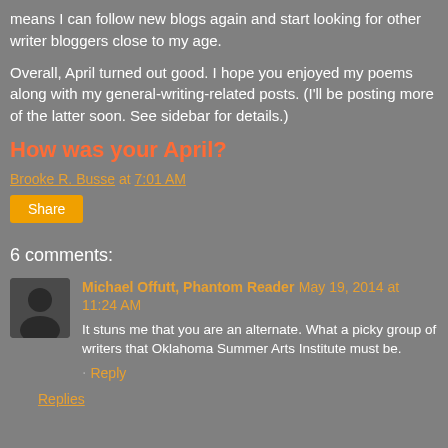means I can follow new blogs again and start looking for other writer bloggers close to my age.
Overall, April turned out good. I hope you enjoyed my poems along with my general-writing-related posts. (I'll be posting more of the latter soon. See sidebar for details.)
How was your April?
Brooke R. Busse at 7:01 AM
Share
6 comments:
Michael Offutt, Phantom Reader May 19, 2014 at 11:24 AM
It stuns me that you are an alternate. What a picky group of writers that Oklahoma Summer Arts Institute must be.
Reply
Replies